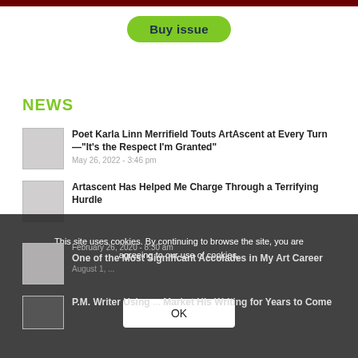[Figure (photo): Top dark red image strip, partially visible at top of page]
Buy issue
NEWS
Poet Karla Linn Merrifield Touts ArtAscent at Every Turn—"It's the Respect I'm Granted"
May 26, 2022 - 3:46 pm
Artascent Has Helped Me Charge Through a Terrifying Hurdle
February 26, 2020 - 8:30 am
One of the Most Significant Accolades in My Art Career
August 1, ...
P.M. Writer Using ... Market His Writing for Years to Come
This site uses cookies. By continuing to browse the site, you are agreeing to our use of cookies.
OK